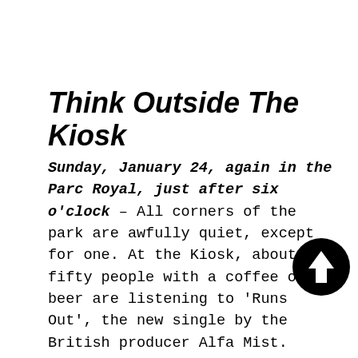Think Outside The Kiosk
Sunday, January 24, again in the Parc Royal, just after six o'clock – All corners of the park are awfully quiet, except for one. At the Kiosk, about fifty people with a coffee or beer are listening to 'Runs Out', the new single by the British producer Alfa Mist. Normally a flag with the Kiosk logo is always waving proudly
[Figure (illustration): Black circular button with white upward arrow icon]